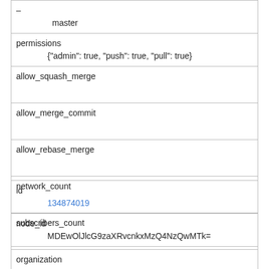| –
master |
| permissions
    {"admin": true, "push": true, "pull": true} |
| allow_squash_merge |
| allow_merge_commit |
| allow_rebase_merge |
| network_count |
| subscribers_count |
| organization |
| id
    134874019 |
| node_id
    MDEwOlJlcG9zaXRvcnkxMzQ4NzQwMTk= |